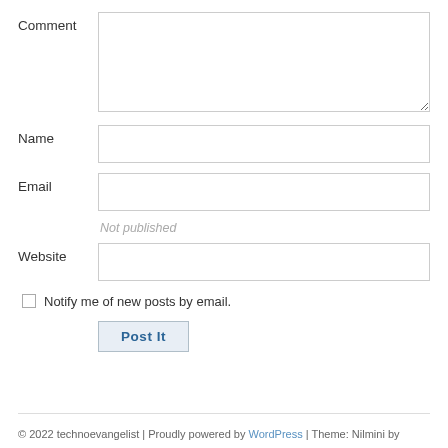Comment
Name
Email
Not published
Website
Notify me of new posts by email.
Post It
© 2022 technoevangelist | Proudly powered by WordPress | Theme: Nilmini by